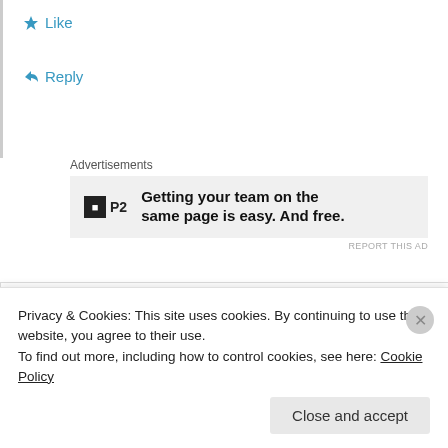★ Like
↳ Reply
Advertisements
[Figure (other): P2 advertisement banner: logo with black square containing 'P' and 'P2' text, with bold text 'Getting your team on the same page is easy. And free.']
REPORT THIS AD
Kathy
November 17, 2012 at 9:54 pm
[Figure (other): Purple geometric snowflake-style avatar icon for user Kathy]
Migraine Excedrin is in costco BUT Migraine
Privacy & Cookies: This site uses cookies. By continuing to use this website, you agree to their use.
To find out more, including how to control cookies, see here: Cookie Policy
Close and accept